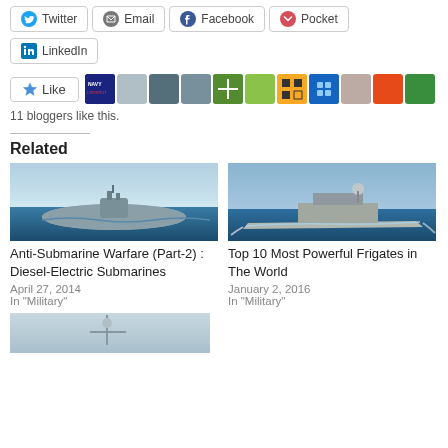[Figure (screenshot): Social share buttons: Twitter, Email, Facebook, Pocket, LinkedIn]
[Figure (screenshot): Like button with star icon and avatars of 11 bloggers who liked this]
11 bloggers like this.
Related
[Figure (photo): Photo of a diesel-electric submarine at sea]
[Figure (photo): Photo of a navy frigate at sea]
Anti-Submarine Warfare (Part-2) : Diesel-Electric Submarines
April 27, 2014
In "Military"
Top 10 Most Powerful Frigates in The World
January 2, 2016
In "Military"
[Figure (photo): Partial photo of a third related article at the bottom]